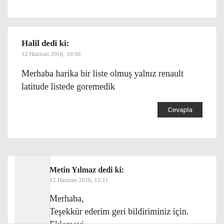Halil dedi ki:
12 Haziran 2016, 10:50
Merhaba harika bir liste olmuş yalnız renault latitude listede goremedik
Cevapla
Metin Yılmaz dedi ki:
12 Haziran 2016, 12:11
Merhaba, Teşekkür ederim geri bildiriminiz için. Eklemeyi